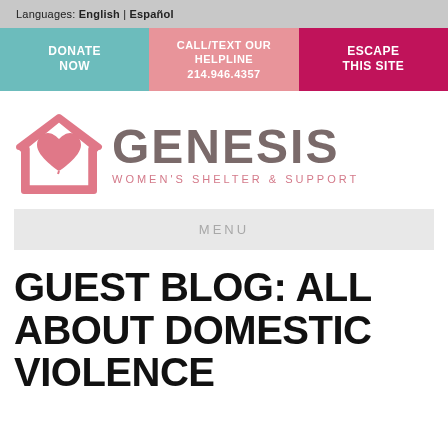Languages: English | Español
DONATE NOW
CALL/TEXT OUR HELPLINE 214.946.4357
ESCAPE THIS SITE
[Figure (logo): Genesis Women's Shelter & Support logo: pink house/heart icon with the word GENESIS in gray and tagline WOMEN'S SHELTER & SUPPORT in pink]
MENU
GUEST BLOG: ALL ABOUT DOMESTIC VIOLENCE